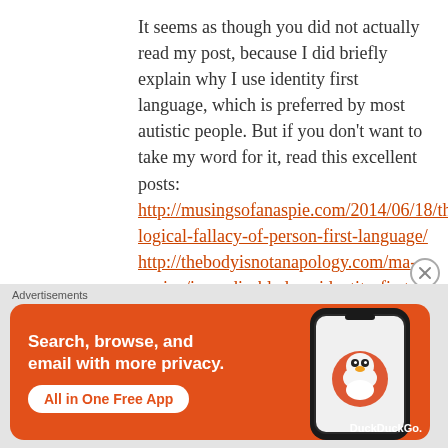It seems as though you did not actually read my post, because I did briefly explain why I use identity first language, which is preferred by most autistic people. But if you don't want to take my word for it, read this excellent posts: http://musingsofanaspie.com/2014/06/18/the-logical-fallacy-of-person-first-language/ http://thebodyisnotanapology.com/magazine/i-am-disabled-on-identity-first-versus-people-first-language/
[Figure (screenshot): DuckDuckGo advertisement banner: orange background with white text 'Search, browse, and email with more privacy. All in One Free App' button, and a phone showing the DuckDuckGo app logo]